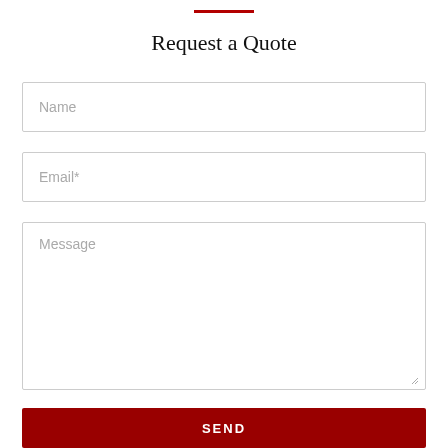Request a Quote
Name
Email*
Message
SEND